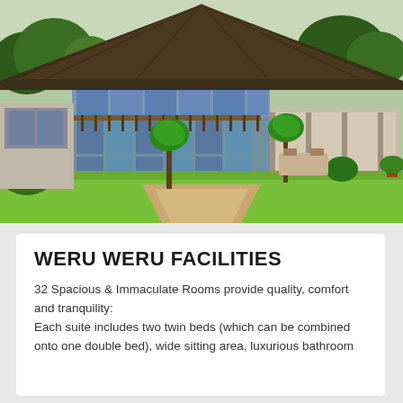[Figure (photo): Aerial/ground-level view of Weru Weru lodge building with thatched roof, large glass windows, wooden balcony railings, surrounded by lush green lawn, palm trees, and a paved pathway leading to the entrance.]
WERU WERU FACILITIES
32 Spacious & Immaculate Rooms provide quality, comfort and tranquility: Each suite includes two twin beds (which can be combined onto one double bed), wide sitting area, luxurious bathroom